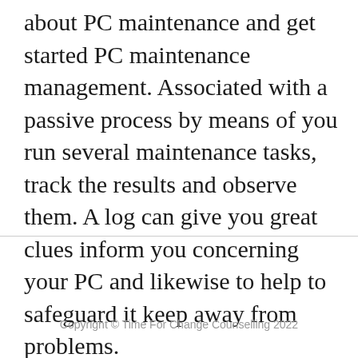about PC maintenance and get started PC maintenance management. Associated with a passive process by means of you run several maintenance tasks, track the results and observe them. A log can give you great clues inform you concerning your PC and likewise to help to safeguard it keep away from problems.
Copyright © Time For Change Counselling 2022